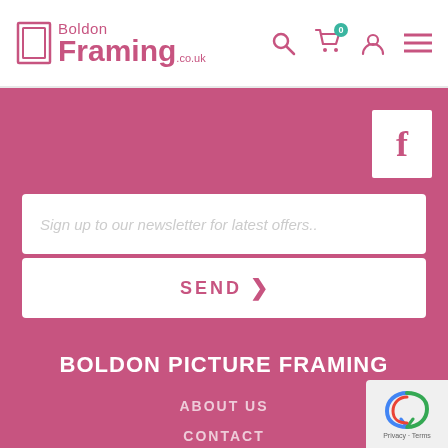Boldon Framing .co.uk
[Figure (logo): Boldon Framing logo with frame icon]
[Figure (infographic): Facebook button white square with pink 'f']
Sign up to our newsletter for latest offers..
SEND >
BOLDON PICTURE FRAMING
ABOUT US
CONTACT
VISIT OUR SHOWROOM
[Figure (other): reCAPTCHA Privacy Terms badge]